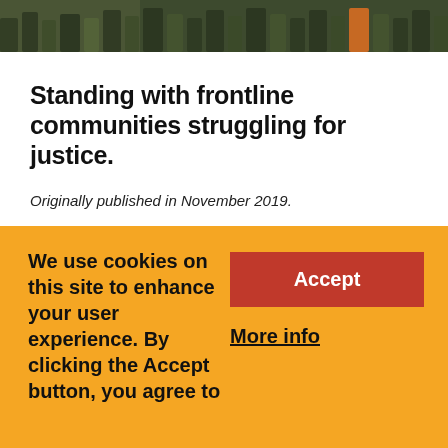[Figure (photo): Crowd of people walking, appears to be a protest or march, cropped at top of page]
Standing with frontline communities struggling for justice.
Originally published in November 2019.
In January 2018, Israel's Strategic Affairs Ministry released a list to the Israeli press of 20 organisations which it considered banned,
We use cookies on this site to enhance your user experience. By clicking the Accept button, you agree to